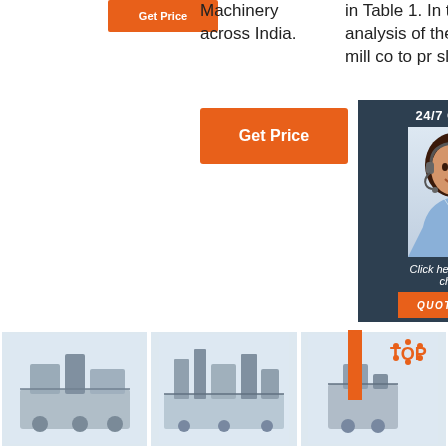[Figure (other): Orange 'Get Price' button top-left]
Machinery across India.
in Table 1. In this analysis of the dry mill co to pr sli ar
[Figure (other): Orange 'Get Price' button middle]
[Figure (other): 24/7 Online chat widget with woman in headset, 'Click here for free chat!' and QUOTATION button]
[Figure (photo): Industrial machinery / processing plant photo 1]
[Figure (photo): Industrial machinery / processing plant photo 2]
[Figure (photo): Industrial machinery photo 3 with TOP badge]